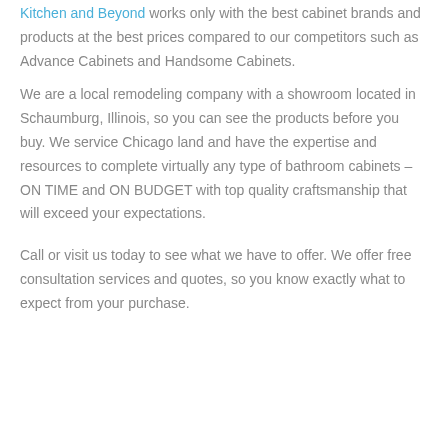Kitchen and Beyond works only with the best cabinet brands and products at the best prices compared to our competitors such as Advance Cabinets and Handsome Cabinets.
We are a local remodeling company with a showroom located in Schaumburg, Illinois, so you can see the products before you buy. We service Chicago land and have the expertise and resources to complete virtually any type of bathroom cabinets – ON TIME and ON BUDGET with top quality craftsmanship that will exceed your expectations.
Call or visit us today to see what we have to offer. We offer free consultation services and quotes, so you know exactly what to expect from your purchase.